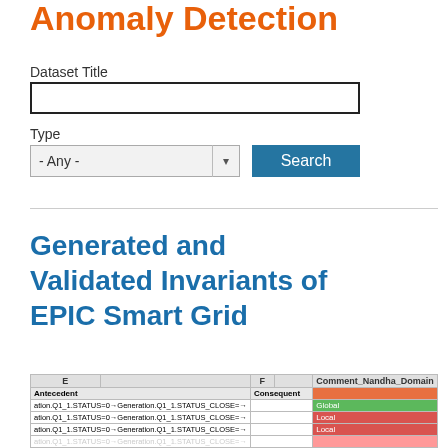Anomaly Detection
Dataset Title
Type
- Any -
Search
Generated and Validated Invariants of EPIC Smart Grid
[Figure (screenshot): Spreadsheet screenshot showing columns E (Antecedent), F (Consequent), and Comment_Nandha_Domain with rows containing Generation.Q1_1.STATUS values with Global/Local domain labels in green and red cells]